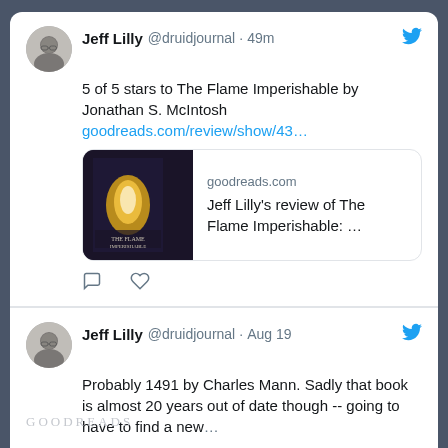[Figure (screenshot): Twitter/social media screenshot showing two tweets by Jeff Lilly (@druidjournal). First tweet: 5 of 5 stars to The Flame Imperishable by Jonathan S. McIntosh with a Goodreads link preview. Second tweet: Probably 1491 by Charles Mann. Sadly that book is almost 20 years out of date though -- going to have to find a new... Posted Aug 19.]
GOODREADS